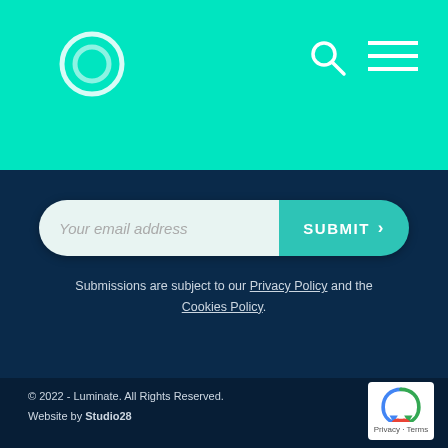[Figure (screenshot): Navigation header bar with teal/mint green background, circular logo outline on the left, search icon and hamburger menu icon on the right]
[Figure (other): Email subscription form with rounded pill shape, white/light input field with placeholder 'Your email address' and teal SUBMIT button with chevron arrow]
Submissions are subject to our Privacy Policy and the Cookies Policy.
© 2022 - Luminate. All Rights Reserved.
Website by Studio28